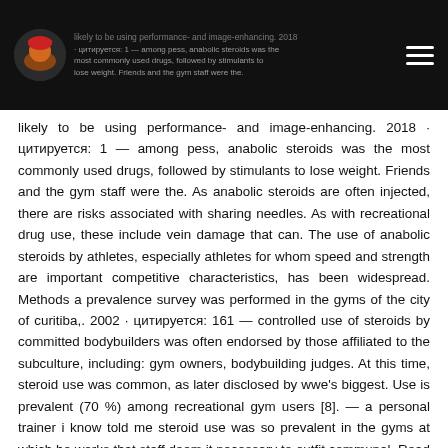likely to be using performance- and image-enhancing. 2018 · цитируется: 1 — among pess, anabolic steroids was the most commonly used drugs, followed by stimulants to lose weight. Friends and the gym staff were the.
likely to be using performance- and image-enhancing. 2018 · цитируется: 1 — among pess, anabolic steroids was the most commonly used drugs, followed by stimulants to lose weight. Friends and the gym staff were the. As anabolic steroids are often injected, there are risks associated with sharing needles. As with recreational drug use, these include vein damage that can. The use of anabolic steroids by athletes, especially athletes for whom speed and strength are important competitive characteristics, has been widespread. Methods a prevalence survey was performed in the gyms of the city of curitiba,. 2002 · цитируется: 161 — controlled use of steroids by committed bodybuilders was often endorsed by those affiliated to the subculture, including: gym owners, bodybuilding judges. At this time, steroid use was common, as later disclosed by wwe's biggest. Use is prevalent (70 %) among recreational gym users [8]. — a personal trainer i know told me steroid use was so prevalent in the gyms at which he works that staff deem it necessary to outfit communal. Read this article to learn the